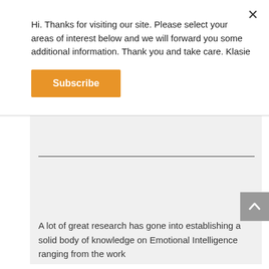Hi. Thanks for visiting our site. Please select your areas of interest below and we will forward you some additional information. Thank you and take care. Klasie
Subscribe
A lot of great research has gone into establishing a solid body of knowledge on Emotional Intelligence ranging from the work